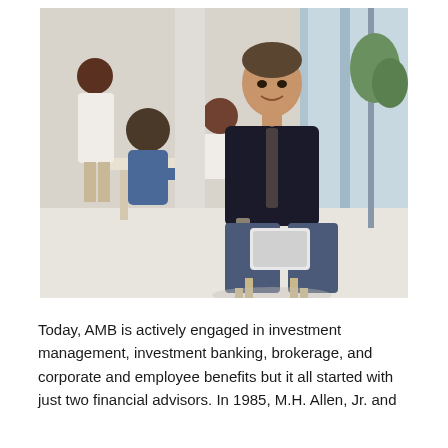[Figure (photo): A businessman in a dark suit and tie sitting in a modern office, holding a tablet, smiling at the camera. In the background, colleagues are seated at a white table having a meeting.]
Today, AMB is actively engaged in investment management, investment banking, brokerage, and corporate and employee benefits but it all started with just two financial advisors. In 1985, M.H. Allen, Jr. and